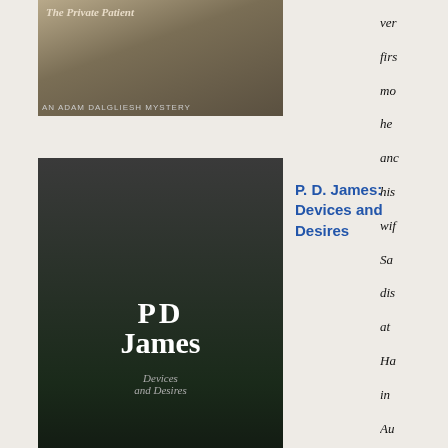[Figure (photo): Book cover: The Private Patient by P.D. James]
[Figure (photo): Book cover: Devices and Desires by P.D. James]
P. D. James: Devices and Desires
Read in 2012
[Figure (photo): Book cover: Harvest by Tess Gerritsen]
Tess
Gerritsen: Harvest
ver firs mo he anc his wif Sar dis at Ha in Au 193 He is give a par ent Wh yo are in